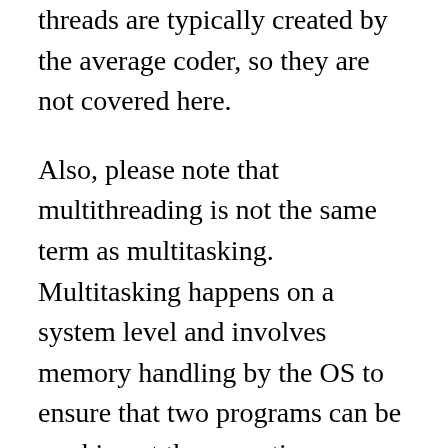threads are typically created by the average coder, so they are not covered here.
Also, please note that multithreading is not the same term as multitasking. Multitasking happens on a system level and involves memory handling by the OS to ensure that two programs can be working at the same time. Multithreading, on the other hand, occurs at the thread level, which is much smaller, and while it still involves memory handling to an extent, is mostly concerned with assigning threads(and thereby processes) to multiple cores. While multithreading can still be used on a single core machine, the most significant benefits